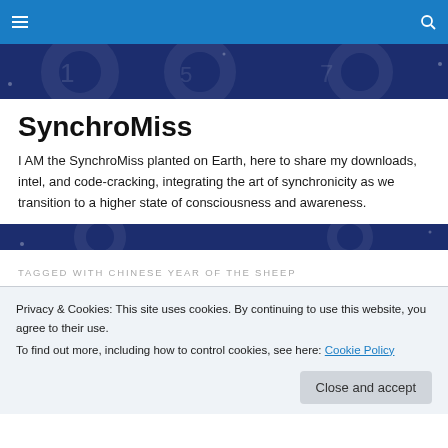SynchroMiss navigation bar with hamburger menu and search icon
[Figure (illustration): Dark blue banner with zodiac/cosmic number overlay graphics]
SynchroMiss
I AM the SynchroMiss planted on Earth, here to share my downloads, intel, and code-cracking, integrating the art of synchronicity as we transition to a higher state of consciousness and awareness.
[Figure (illustration): Second dark blue banner with cosmic graphics]
TAGGED WITH CHINESE YEAR OF THE SHEEP
[Figure (photo): Article thumbnail strip showing person with pink sunglasses on left and woman on right with I AM text labels]
Privacy & Cookies: This site uses cookies. By continuing to use this website, you agree to their use.
To find out more, including how to control cookies, see here: Cookie Policy